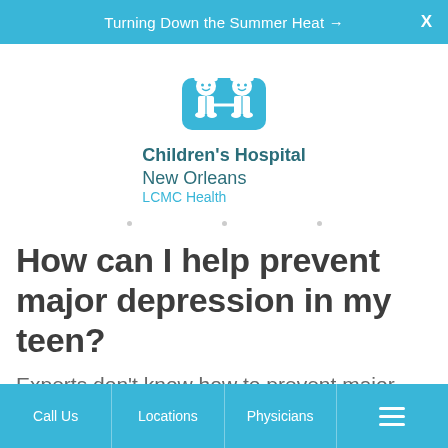Turning Down the Summer Heat →  X
[Figure (logo): Children's Hospital New Orleans LCMC Health logo with two illustrated child figures in teal]
How can I help prevent major depression in my teen?
Experts don't know how to prevent major depression in a teen. But knowing the risk
Call Us   Locations   Physicians   ☰